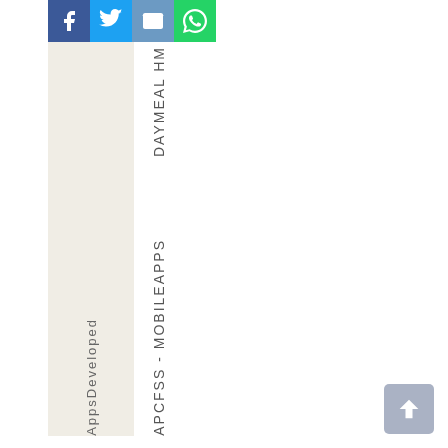[Figure (other): Social share buttons: Facebook (blue), Twitter (light blue), Email (blue), WhatsApp (green)]
AppsName
DAYMEAL HM
APCFSS - MOBILEAPPS
AppsDeveloped
[Figure (other): Scroll-to-top button (up arrow on grey-blue background)]